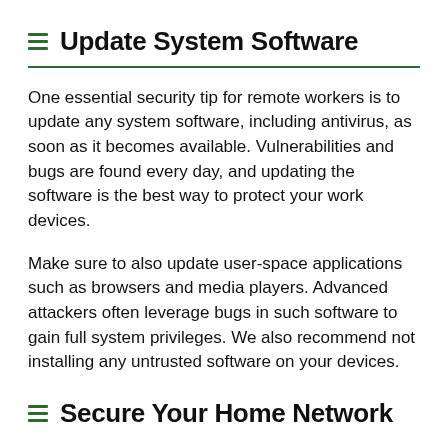Update System Software
One essential security tip for remote workers is to update any system software, including antivirus, as soon as it becomes available. Vulnerabilities and bugs are found every day, and updating the software is the best way to protect your work devices.
Make sure to also update user-space applications such as browsers and media players. Advanced attackers often leverage bugs in such software to gain full system privileges. We also recommend not installing any untrusted software on your devices.
Secure Your Home Network